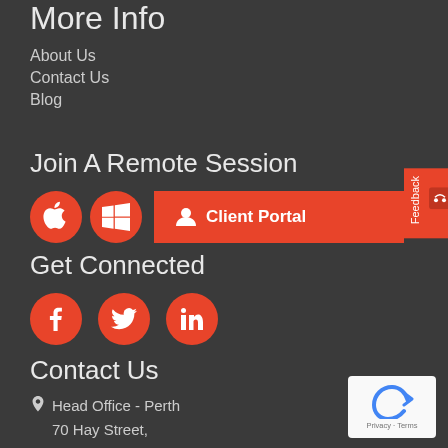More Info
About Us
Contact Us
Blog
Join A Remote Session
[Figure (infographic): Apple icon circle, Windows icon circle, and Client Portal button with user icon]
Get Connected
[Figure (infographic): Facebook, Twitter, and LinkedIn orange circle icon buttons]
Contact Us
Head Office - Perth
70 Hay Street,
Subiaco, WA, 6008